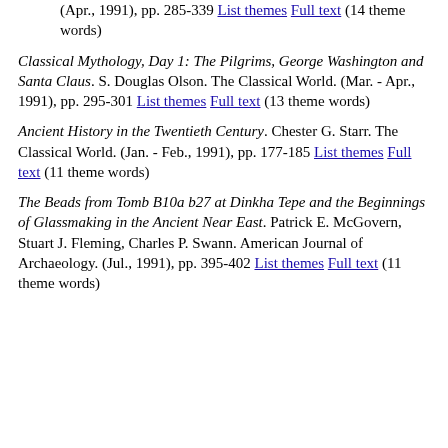(Apr., 1991), pp. 285-339 List themes Full text (14 theme words)
Classical Mythology, Day 1: The Pilgrims, George Washington and Santa Claus. S. Douglas Olson. The Classical World. (Mar. - Apr., 1991), pp. 295-301 List themes Full text (13 theme words)
Ancient History in the Twentieth Century. Chester G. Starr. The Classical World. (Jan. - Feb., 1991), pp. 177-185 List themes Full text (11 theme words)
The Beads from Tomb B10a b27 at Dinkha Tepe and the Beginnings of Glassmaking in the Ancient Near East. Patrick E. McGovern, Stuart J. Fleming, Charles P. Swann. American Journal of Archaeology. (Jul., 1991), pp. 395-402 List themes Full text (11 theme words)